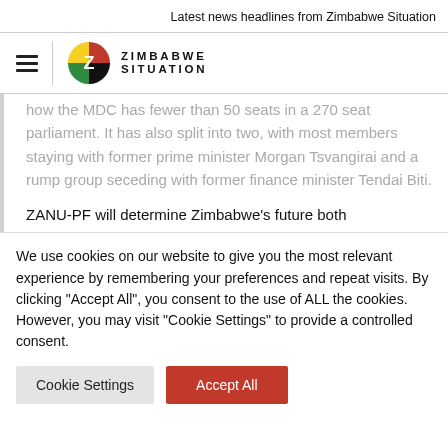Latest news headlines from Zimbabwe Situation
[Figure (logo): Zimbabwe Situation logo with hamburger menu icon, Zimbabwe flag Z emblem, and text ZIMBABWE SITUATION]
how the MDC has fewer than 50 seats in a 270 seat parliament. It has also split into two, with most members staying with former prime minister Morgan Tsvangirai and a rump group seceding with former finance minister Tendai Biti.
ZANU-PF will determine Zimbabwe's future both
We use cookies on our website to give you the most relevant experience by remembering your preferences and repeat visits. By clicking "Accept All", you consent to the use of ALL the cookies. However, you may visit "Cookie Settings" to provide a controlled consent.